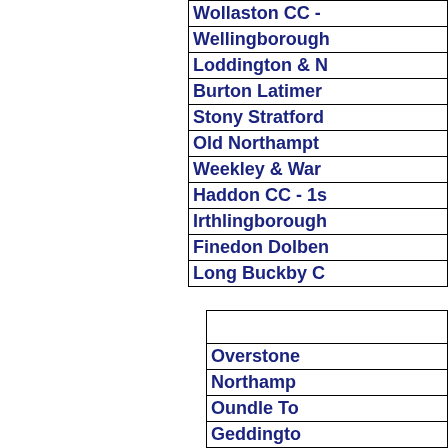| Wollaston CC - |
| Wellingborough |
| Loddington & N |
| Burton Latimer |
| Stony Stratford |
| Old Northampto |
| Weekley & War |
| Haddon CC - 1s |
| Irthlingborough |
| Finedon Dolben |
| Long Buckby C |
|  |
| Overstone |
| Northamp |
| Oundle To |
| Geddingto |
| Wollaston |